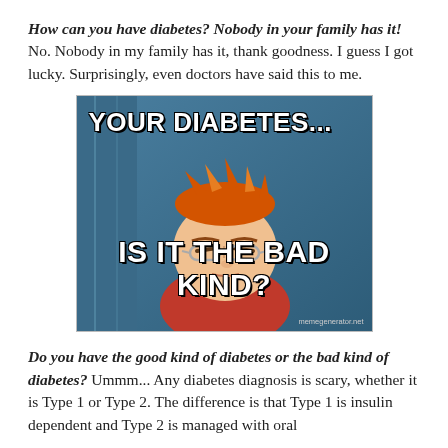How can you have diabetes? Nobody in your family has it! No. Nobody in my family has it, thank goodness. I guess I got lucky. Surprisingly, even doctors have said this to me.
[Figure (illustration): Futurama Fry meme with text 'YOUR DIABETES... IS IT THE BAD KIND?' on a blue background with cartoon character squinting]
Do you have the good kind of diabetes or the bad kind of diabetes? Ummm... Any diabetes diagnosis is scary, whether it is Type 1 or Type 2. The difference is that Type 1 is insulin dependent and Type 2 is managed with oral